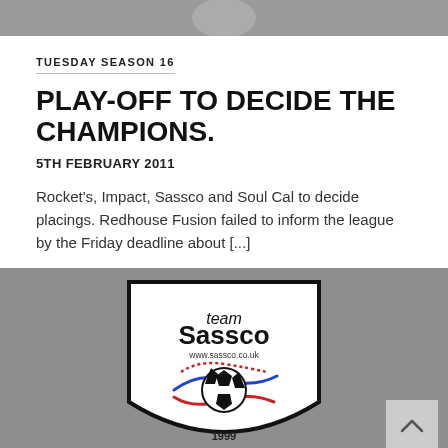[Figure (photo): Grey banner image at top of page (partial, cropped)]
TUESDAY SEASON 16
PLAY-OFF TO DECIDE THE CHAMPIONS.
5TH FEBRUARY 2011
Rocket's, Impact, Sassco and Soul Cal to decide placings. Redhouse Fusion failed to inform the league by the Friday deadline about [...]
[Figure (logo): Team Sassco shield logo with football and swoosh design, www.sassco.co.uk, grey background]